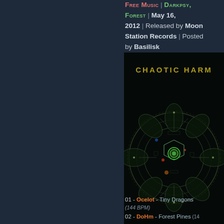Free Music | Darkpsy, Forest | May 16, 2012 | Released by Moon Station Records | Posted by Basilisk
[Figure (photo): Album cover art for 'Chaotic Harm' compiled by DJ Iris — dark psychedelic circular mandala design with circuit patterns on black background, text 'CHAOTIC HARM' at top and 'compiled by dj iris' at bottom]
01 - Ocelot - Tiny Dragons (144 BPM)
02 - DoHm - Forest Pines (14...)